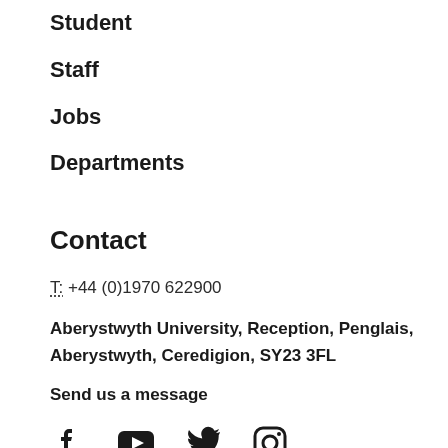Student
Staff
Jobs
Departments
Contact
T: +44 (0)1970 622900
Aberystwyth University, Reception, Penglais, Aberystwyth, Ceredigion, SY23 3FL
Send us a message
[Figure (illustration): Social media icons: Facebook, YouTube, Twitter, Instagram]
Maps & Travel
[Figure (map): Partial map image visible at the bottom of the page]